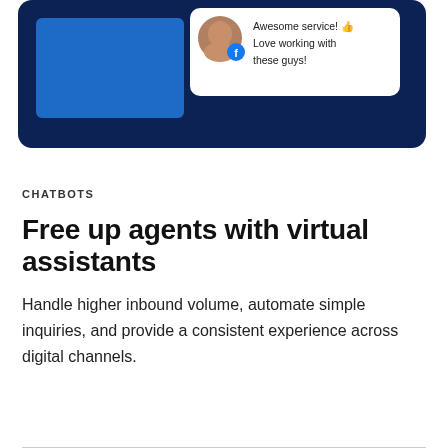[Figure (illustration): Dark navy blue rounded UI card/dashboard mockup showing a social media customer review. Contains a blue rectangle on the left side, and a white popup card on the right with a user avatar (person smiling with Facebook logo overlay) and text 'Awesome service! 👍 Love working with these guys!']
CHATBOTS
Free up agents with virtual assistants
Handle higher inbound volume, automate simple inquiries, and provide a consistent experience across digital channels.